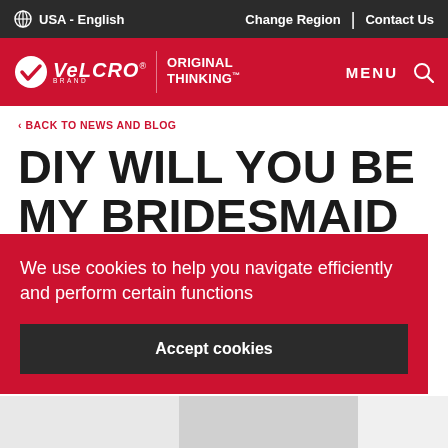USA - English | Change Region | Contact Us
[Figure (logo): Velcro Brand logo with checkmark and Original Thinking tagline, MENU and search icon on red navigation bar]
< BACK TO NEWS AND BLOG
DIY WILL YOU BE MY BRIDESMAID OR GROOMSMAN GIFTS
We use cookies to help you navigate efficiently and perform certain functions
Accept cookies